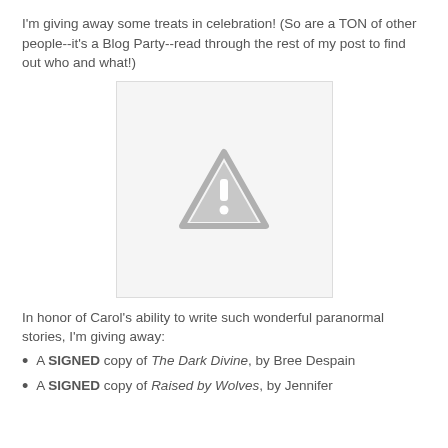I'm giving away some treats in celebration! (So are a TON of other people--it's a Blog Party--read through the rest of my post to find out who and what!)
[Figure (other): Placeholder image with a warning triangle/exclamation mark icon on a light gray background]
In honor of Carol's ability to write such wonderful paranormal stories, I'm giving away:
A SIGNED copy of The Dark Divine, by Bree Despain
A SIGNED copy of Raised by Wolves, by Jennifer